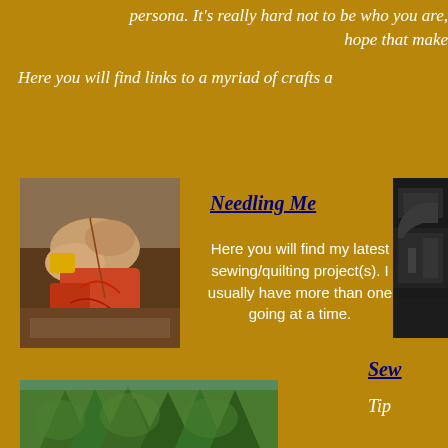persona. It's really hard not to be who you are, hope that make
Here you will find links to a myriad of crafts a
[Figure (photo): Hands doing needlework/quilting with fabric and thread]
Needling Me
Here you will find my latest sewing/quilting project(s). I usually have more than one going at a time.
[Figure (photo): Partial view of sewing machine or craft equipment, dark background]
Sew
Tip
[Figure (photo): Green trees/foliage outdoor nature scene]